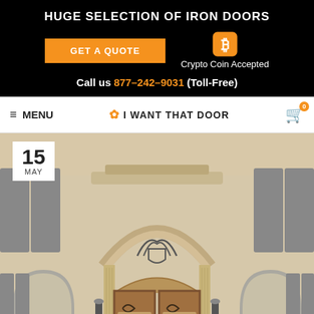HUGE SELECTION OF IRON DOORS
GET A QUOTE
Crypto Coin Accepted
Call us 877-242-9031 (Toll-Free)
[Figure (screenshot): Navigation bar with hamburger menu, I WANT THAT DOOR logo with sun icon, and shopping cart icon with orange badge showing 0]
[Figure (photo): Luxury home entrance with ornate iron double doors featuring scrollwork glass panels, arched transom with decorative ironwork, flanking wall sconces and shutters, with a date badge showing 15 MAY in top left corner]